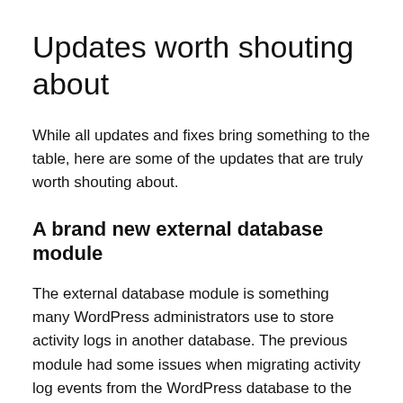Updates worth shouting about
While all updates and fixes bring something to the table, here are some of the updates that are truly worth shouting about.
A brand new external database module
The external database module is something many WordPress administrators use to store activity logs in another database. The previous module had some issues when migrating activity log events from the WordPress database to the new external database. This newly developed module also